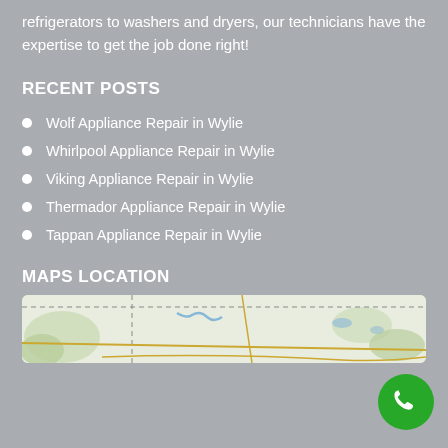refrigerators to washers and dryers, our technicians have the expertise to get the job done right!
RECENT POSTS
Wolf Appliance Repair in Wylie
Whirlpool Appliance Repair in Wylie
Viking Appliance Repair in Wylie
Thermador Appliance Repair in Wylie
Tappan Appliance Repair in Wylie
MAPS LOCATION
[Figure (map): Street/terrain map showing Wylie area location with roads and green terrain patches]